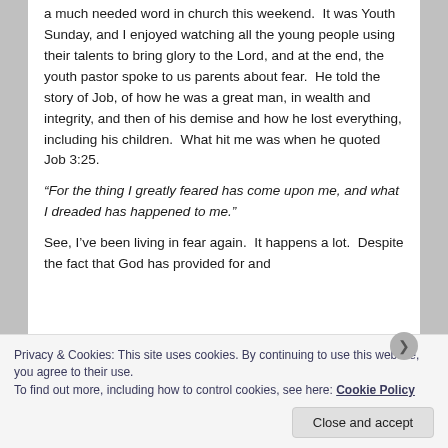a much needed word in church this weekend.  It was Youth Sunday, and I enjoyed watching all the young people using their talents to bring glory to the Lord, and at the end, the youth pastor spoke to us parents about fear.  He told the story of Job, of how he was a great man, in wealth and integrity, and then of his demise and how he lost everything, including his children.  What hit me was when he quoted Job 3:25.
“For the thing I greatly feared has come upon me, and what I dreaded has happened to me.”
See, I’ve been living in fear again.  It happens a lot.  Despite the fact that God has provided for and
Privacy & Cookies: This site uses cookies. By continuing to use this website, you agree to their use.
To find out more, including how to control cookies, see here: Cookie Policy